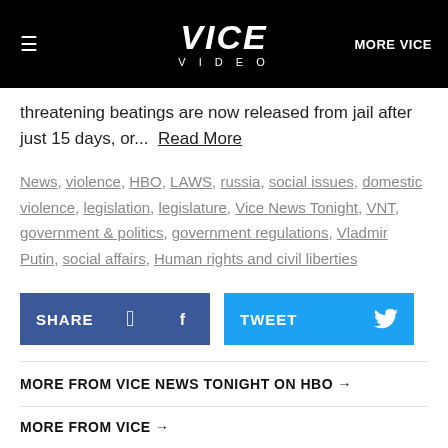VICE VIDEO | MORE VICE
threatening beatings are now released from jail after just 15 days, or... Read More
News, violence, HBO, LAWS, russia, social issues, domestic violence, legislation, legislature, Vice News Tonight, VNT, government & politics, government regulations, Vladmir Putin, social affairs, Human rights and civil liberties
SHARE | TWEET
MORE FROM VICE NEWS TONIGHT ON HBO →
MORE FROM VICE →